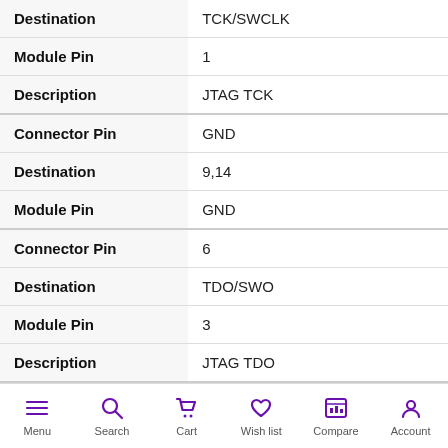| Field | Value |
| --- | --- |
| Destination | TCK/SWCLK |
| Module Pin | 1 |
| Description | JTAG TCK |
| Connector Pin | GND |
| Destination | 9,14 |
| Module Pin | GND |
| Connector Pin | 6 |
| Destination | TDO/SWO |
| Module Pin | 3 |
| Description | JTAG TDO |
| Connector Pin | 7 |
| Destination | NC |
Menu  Search  Cart  Wish list  Compare  Account